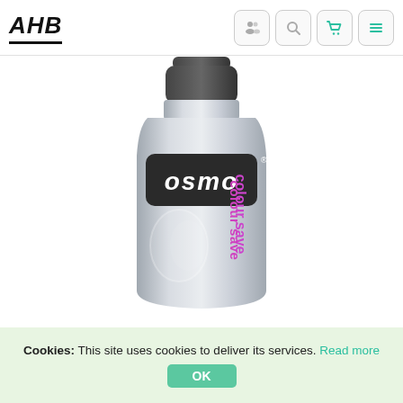AHB
[Figure (photo): Silver Osmo Colour Save shampoo/conditioner bottle with dark grey cap. The bottle has the Osmo logo in white text on a dark rounded rectangle label, and 'colour save' text in pink/magenta on the lower portion of the bottle.]
Cookies: This site uses cookies to deliver its services. Read more OK